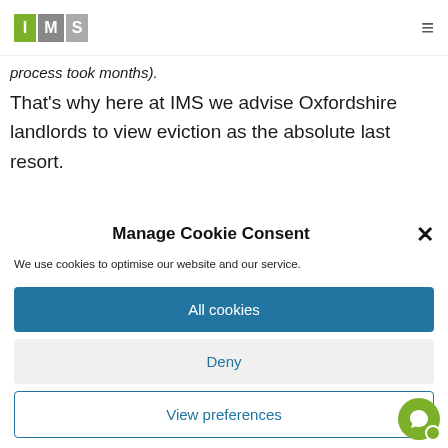IMS logo and navigation
process took months).
That's why here at IMS we advise Oxfordshire landlords to view eviction as the absolute last resort.
Manage Cookie Consent
We use cookies to optimise our website and our service.
All cookies
Deny
View preferences